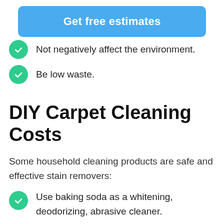[Figure (other): Blue rounded button with text 'Get free estimates']
Not negatively affect the environment.
Be low waste.
DIY Carpet Cleaning Costs
Some household cleaning products are safe and effective stain removers:
Use baking soda as a whitening, deodorizing, abrasive cleaner.
Vinegar can cut grease and has anti-